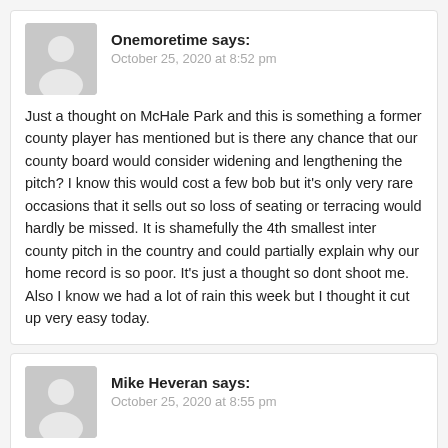Onemoretime says: October 25, 2020 at 8:52 pm
Just a thought on McHale Park and this is something a former county player has mentioned but is there any chance that our county board would consider widening and lengthening the pitch? I know this would cost a few bob but it's only very rare occasions that it sells out so loss of seating or terracing would hardly be missed. It is shamefully the 4th smallest inter county pitch in the country and could partially explain why our home record is so poor. It's just a thought so dont shoot me. Also I know we had a lot of rain this week but I thought it cut up very easy today.
Mike Heveran says: October 25, 2020 at 8:55 pm
Well now.. 2020 just gets better by the day.